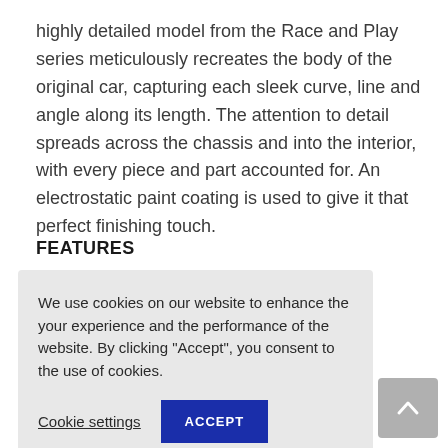highly detailed model from the Race and Play series meticulously recreates the body of the original car, capturing each sleek curve, line and angle along its length. The attention to detail spreads across the chassis and into the interior, with every piece and part accounted for. An electrostatic paint coating is used to give it that perfect finishing touch.
FEATURES
We use cookies on our website to enhance the your experience and the performance of the website. By clicking "Accept", you consent to the use of cookies.
Cookie settings  ACCEPT